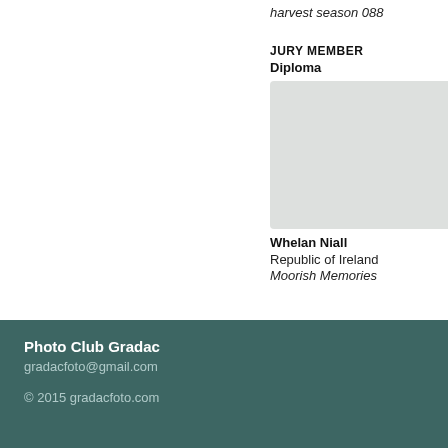harvest season 088
Star
JURY MEMBER
Diploma
[Figure (photo): Gray placeholder image for award entry]
Whelan Niall
Republic of Ireland
Moorish Memories
CHA
Hon
[Figure (photo): Partial gray placeholder image on right side]
Van
Belg
Bage
Photo Club Gradac
gradacfoto@gmail.com
© 2015 gradacfoto.com